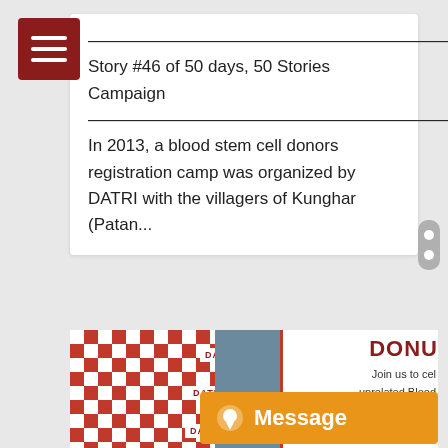————————————————————————————————————————————————————————————Story #46 of 50 days, 50 Stories Campaign——————————————————————————————————————————————————————————————————————————————— In 2013, a blood stem cell donors registration camp was organized by DATRI with the villagers of Kunghar (Patan...
[Figure (photo): Photo of two people (a woman in yellow and a man in blue) at a DATRI event, with a red and white DATRI checkered banner on the left, and a white banner on the right reading 'DONU... Join us to cel... unrelated Blood...' An orange Message button is overlaid at the bottom right.]